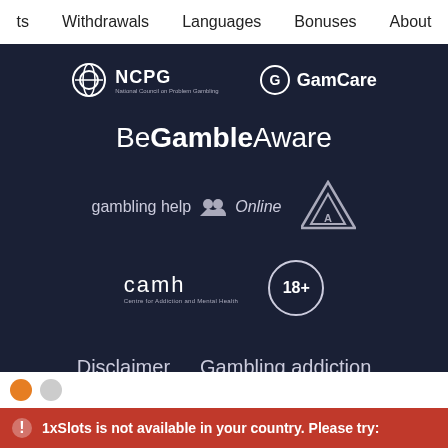ts  Withdrawals  Languages  Bonuses  About
[Figure (logo): NCPG (National Council on Problem Gambling) logo in white]
[Figure (logo): GamCare logo in white]
[Figure (logo): BeGambleAware logo in white, mixed weight typography]
[Figure (logo): gambling help Online logo with people icon in white/grey]
[Figure (logo): GA (Gamblers Anonymous) triangle logo in white]
[Figure (logo): camh (Centre for Addiction and Mental Health) logo in white]
[Figure (logo): 18+ age restriction circle badge in white]
Disclaimer  Gambling addiction
Responsible gaming  Terms and Conditions
Sitemap
1xSlots is not available in your country. Please try: